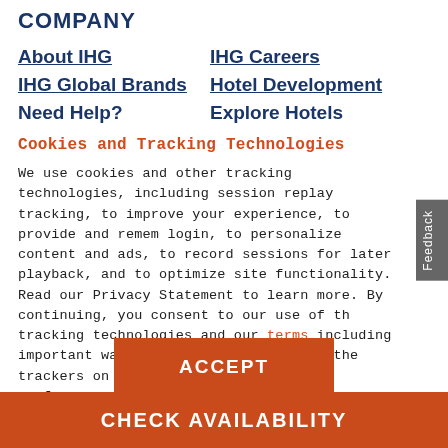COMPANY
About IHG
IHG Careers
IHG Global Brands
Hotel Development
Need Help?
Explore Hotels
Cookies and Tracking Technologies
We use cookies and other tracking technologies, including session replay tracking, to improve your experience, to provide and remember login, to personalize content and ads, to record sessions for later playback, and to optimize site functionality. Read our Privacy Statement to learn more. By continuing, you consent to our use of these tracking technologies and our terms including important waivers. To learn more about the trackers on our site and change your preferences, View Settings.
ACCEPT
CHECK AVAILABILITY